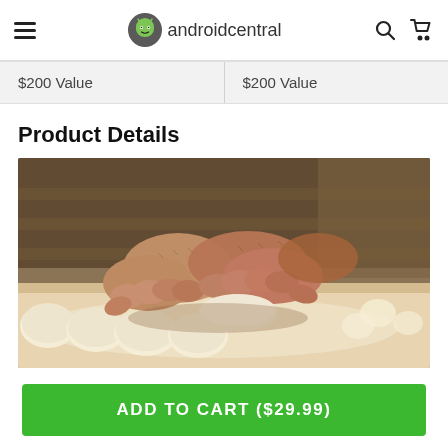androidcentral
$200 Value	$200 Value
Product Details
[Figure (photo): Close-up photo of hands kneading bread dough balls on a floured surface in a bakery]
ADD TO CART ($29.99)